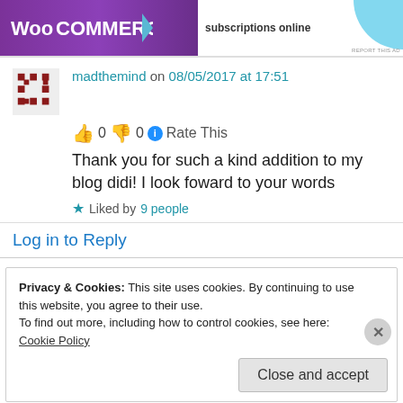[Figure (other): WooCommerce ad banner with purple background, logo, blue arrow, and 'subscriptions online' text with arc graphic]
madthemind on 08/05/2017 at 17:51
👍 0 👎 0 ℹ Rate This
Thank you for such a kind addition to my blog didi! I look foward to your words
★ Liked by 9 people
Log in to Reply
Privacy & Cookies: This site uses cookies. By continuing to use this website, you agree to their use. To find out more, including how to control cookies, see here: Cookie Policy
Close and accept